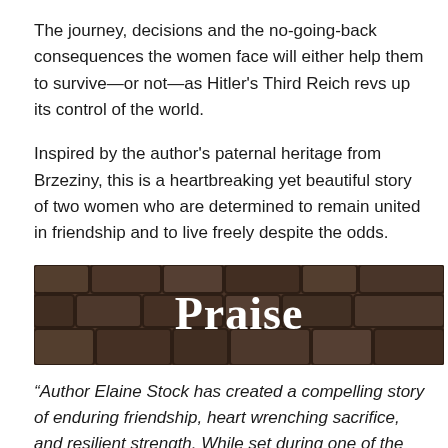The journey, decisions and the no-going-back consequences the women face will either help them to survive—or not—as Hitler's Third Reich revs up its control of the world.
Inspired by the author's paternal heritage from Brzeziny, this is a heartbreaking yet beautiful story of two women who are determined to remain united in friendship and to live freely despite the odds.
[Figure (photo): Cobblestone street photograph with the word 'Praise' overlaid in bold white serif text]
“Author Elaine Stock has created a compelling story of enduring friendship, heart wrenching sacrifice, and resilient strength. While set during one of the darkest